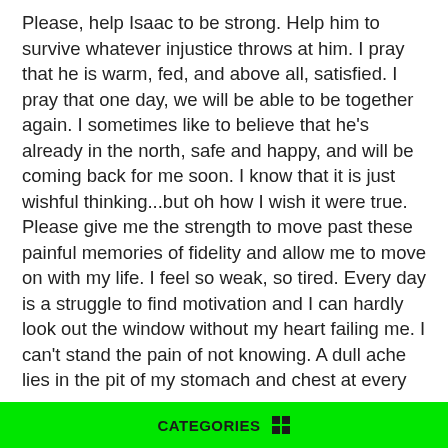Please, help Isaac to be strong. Help him to survive whatever injustice throws at him. I pray that he is warm, fed, and above all, satisfied. I pray that one day, we will be able to be together again. I sometimes like to believe that he's already in the north, safe and happy, and will be coming back for me soon. I know that it is just wishful thinking...but oh how I wish it were true. Please give me the strength to move past these painful memories of fidelity and allow me to move on with my life. I feel so weak, so tired. Every day is a struggle to find motivation and I can hardly look out the window without my heart failing me. I can't stand the pain of not knowing. A dull ache lies in the pit of my stomach and chest at every moment. I find myself spending sleepless nights, gazing at the North Star and imagining that he is looking upon it too, thinking of me. Is he thinking of me? Is he really safe and still following the stars towards freedom? Keep him, oh Lord, in your thoughts. Isaac is a good man and I pray you allow him favorable conditions for achieving his destiny. I
CATEGORIES